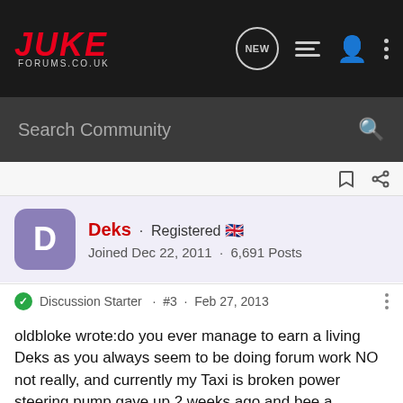JUKE FORUMS.CO.UK
Search Community
Deks · Registered 🇬🇧 Joined Dec 22, 2011 · 6,691 Posts
Discussion Starter · #3 · Feb 27, 2013
oldbloke wrote:do you ever manage to earn a living Deks as you always seem to be doing forum work NO not really, and currently my Taxi is broken power steering pump gave up 2 weeks ago and bee a nightmare sourcing a replacement £400 for a new one from Fiat found a used one but the supplier was useless and a liar took til Monday to find out he hadnt sent it last week ordered another elsewhere that arrived today hopefully fitted by the end of the week.